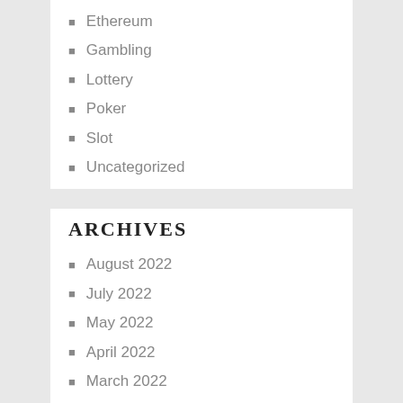Ethereum
Gambling
Lottery
Poker
Slot
Uncategorized
ARCHIVES
August 2022
July 2022
May 2022
April 2022
March 2022
February 2022
January 2022